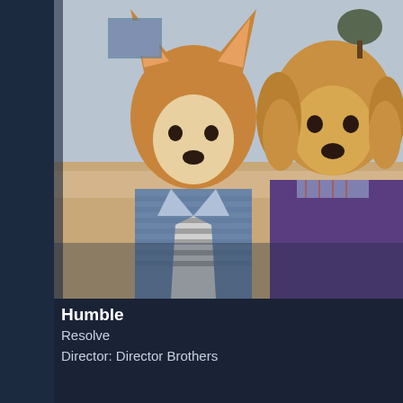[Figure (photo): Two dogs dressed as humans sitting on a couch. Left: a Corgi wearing a striped shirt and denim jacket. Right: a Golden Retriever wearing a purple top with plaid collar details. Indoor domestic setting.]
Humble
Resolve
Director: Director Brothers
[Figure (photo): Black and white photo of an urban/industrial scene with buildings and overgrown vegetation.]
[Figure (logo): Canada Means of Production shield-shaped logo with mountains, wheat fields and blue sky. Text reads 'Canada' in script at top and 'MEANS OF PRODUCTION' below.]
MEANS OF PRODUCTION CANADA
Home  Our